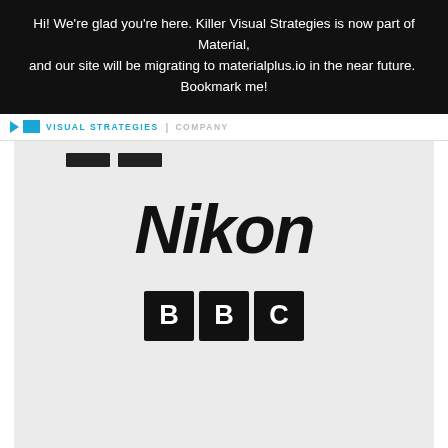Hi! We're glad you're here. Killer Visual Strategies is now part of Material, and our site will be migrating to materialplus.io in the near future.  Bookmark me!
VISUAL STRATEGIES | COMPANY
[Figure (logo): Nikon brand logo in bold italic black text on light grey background]
[Figure (logo): BBC logo consisting of three black squares each containing a white letter B, B, C respectively]